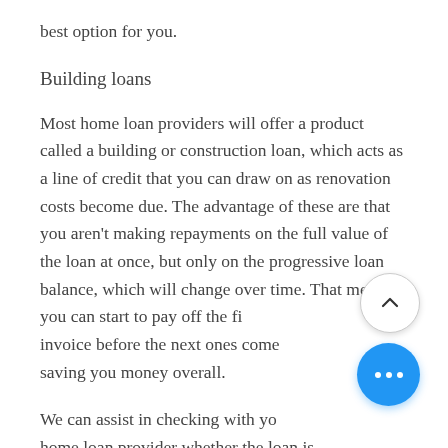best option for you.
Building loans
Most home loan providers will offer a product called a building or construction loan, which acts as a line of credit that you can draw on as renovation costs become due. The advantage of these are that you aren't making repayments on the full value of the loan at once, but only on the progressive loan balance, which will change over time. That means you can start to pay off the first invoice before the next ones come in, saving you money overall.
We can assist in checking with your home loan provider whether the loan is